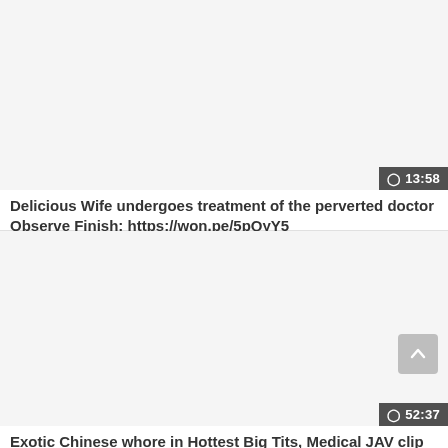[Figure (screenshot): Video thumbnail placeholder (light gray rectangle) for first video]
Delicious Wife undergoes treatment of the perverted doctor Observe Finish: https://won.pe/5pQyY5
[Figure (screenshot): Video thumbnail placeholder (light gray rectangle) for second video]
Exotic Chinese whore in Hottest Big Tits, Medical JAV clip